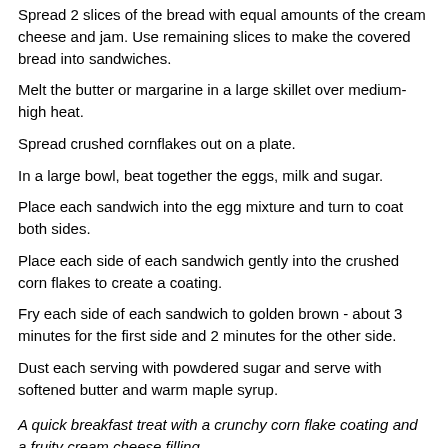Spread 2 slices of the bread with equal amounts of the cream cheese and jam. Use remaining slices to make the covered bread into sandwiches.
Melt the butter or margarine in a large skillet over medium-high heat.
Spread crushed cornflakes out on a plate.
In a large bowl, beat together the eggs, milk and sugar.
Place each sandwich into the egg mixture and turn to coat both sides.
Place each side of each sandwich gently into the crushed corn flakes to create a coating.
Fry each side of each sandwich to golden brown - about 3 minutes for the first side and 2 minutes for the other side.
Dust each serving with powdered sugar and serve with softened butter and warm maple syrup.
A quick breakfast treat with a crunchy corn flake coating and a fruity cream cheese filling.
Mr Breakfast would like to thank magicadespell for this recipe.